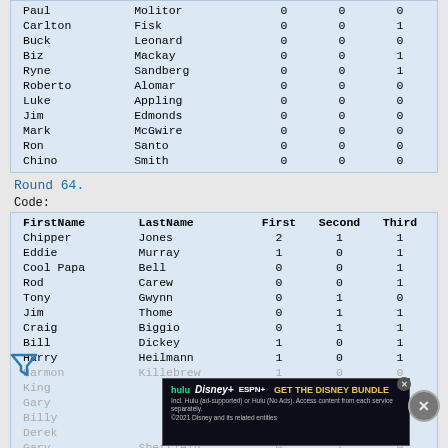| FirstName | LastName | First | Second | Third |
| --- | --- | --- | --- | --- |
| Paul | Molitor | 0 | 0 | 0 |
| Carlton | Fisk | 0 | 0 | 1 |
| Buck | Leonard | 0 | 0 | 0 |
| Biz | Mackay | 0 | 0 | 1 |
| Ryne | Sandberg | 0 | 0 | 1 |
| Roberto | Alomar | 0 | 0 | 0 |
| Luke | Appling | 0 | 0 | 0 |
| Jim | Edmonds | 0 | 0 | 0 |
| Mark | McGwire | 0 | 0 | 0 |
| Ron | Santo | 0 | 0 | 0 |
| Chino | Smith | 0 | 0 | 0 |
Round 64.
Code:
| FirstName | LastName | First | Second | Third |
| --- | --- | --- | --- | --- |
| Chipper | Jones | 2 | 1 | 1 |
| Eddie | Murray | 1 | 0 | 1 |
| Cool Papa | Bell | 0 | 0 | 1 |
| Rod | Carew | 0 | 0 | 1 |
| Tony | Gwynn | 0 | 1 | 0 |
| Jim | Thome | 0 | 1 | 1 |
| Craig | Biggio | 0 | 1 | 1 |
| Bill | Dickey | 1 | 0 | 1 |
| Harry | Heilmann | 1 | 0 | 1 |
| Harmon | Killebrew | 1 | 0 | 0 |
| King | ... | 1 | ... | 1 |
| Gary | ... | 0 | ... | ... |
| Billy | ... | ... | ... | ... |
| Derek | ... | ... | ... | ... |
| Gary | Sheffield | 0 | 1 | 0 |
| Al | Simmons | 0 | 1 | ... |